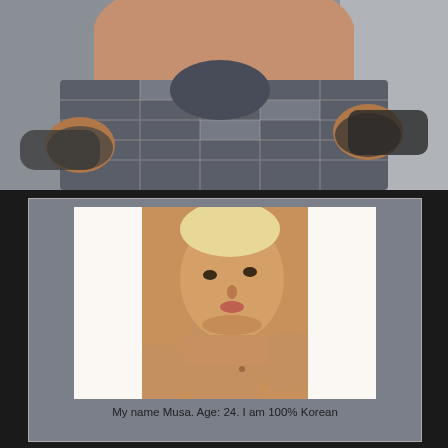[Figure (photo): Torso of a person holding open plaid shorts/pants wide, showing waistband area. Fingerless gloves visible. Indoor background with curtain.]
[Figure (photo): Shirtless young person taking a selfie from above angle, with white vertical bars partially obscuring left and right sides of image. Warm skin tone, light hair.]
My name Musa. Age: 24. I am 100% Korean